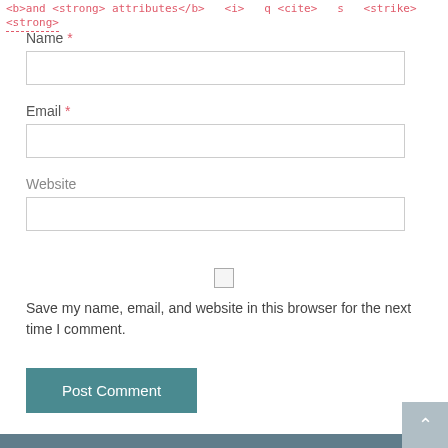<strong>
Name *
Email *
Website
Save my name, email, and website in this browser for the next time I comment.
Post Comment